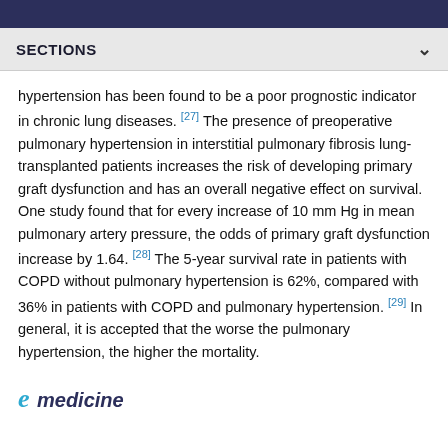SECTIONS
hypertension has been found to be a poor prognostic indicator in chronic lung diseases. [27] The presence of preoperative pulmonary hypertension in interstitial pulmonary fibrosis lung-transplanted patients increases the risk of developing primary graft dysfunction and has an overall negative effect on survival. One study found that for every increase of 10 mm Hg in mean pulmonary artery pressure, the odds of primary graft dysfunction increase by 1.64. [28] The 5-year survival rate in patients with COPD without pulmonary hypertension is 62%, compared with 36% in patients with COPD and pulmonary hypertension. [29] In general, it is accepted that the worse the pulmonary hypertension, the higher the mortality.
[Figure (logo): eMedicine logo with stylized 'e' in teal and 'medicine' text in dark navy, italic]